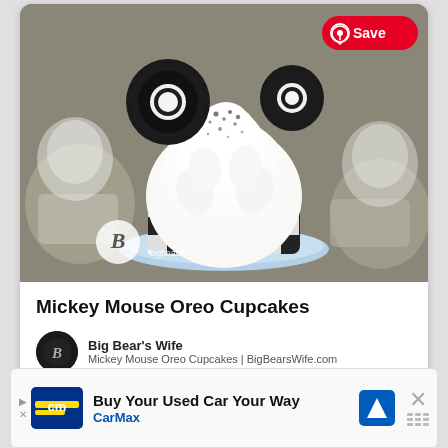[Figure (photo): A Mickey Mouse Oreo Cupcake with tall white frosting, black and white checkered cupcake liner, two Oreo cookies as Mickey Mouse ears, sprinkled with cookie crumbles, on a light blue plate. Watermark shows bigbearswife.com. A Pinterest Save button is visible in the top right.]
Mickey Mouse Oreo Cupcakes
Big Bear's Wife
Mickey Mouse Oreo Cupcakes | BigBearsWife.com
Buy Your Used Car Your Way
CarMax